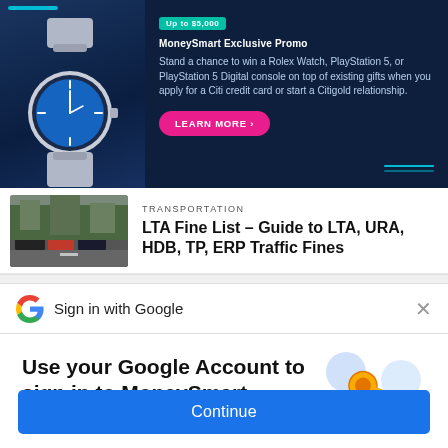[Figure (infographic): MoneySmart promotional banner with dark navy background, a Rolex watch image on the left, and promotional text about winning prizes by applying for a Citi credit card or Citigold relationship. Includes a pink 'LEARN MORE' button.]
[Figure (photo): Street scene with parked cars, used as thumbnail for LTA Fine List article.]
TRANSPORTATION
LTA Fine List – Guide to LTA, URA, HDB, TP, ERP Traffic Fines
[Figure (logo): Google G logo in multicolor (red, yellow, green, blue)]
Sign in with Google
Use your Google Account to sign in to MoneySmart
No more passwords to remember. Signing in is fast, simple and secure.
[Figure (illustration): Colorful illustration with a gold key and circular colorful shapes (blue, yellow, green, pink) suggesting Google account security.]
Continue